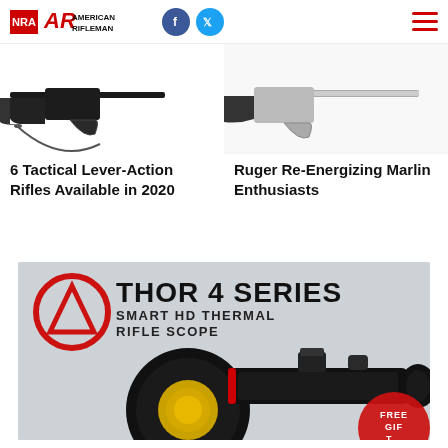NRA American Rifleman
[Figure (photo): Lever-action rifle with black stock and sling, side view on white background]
6 Tactical Lever-Action Rifles Available in 2020
[Figure (photo): Stainless lever-action rifle with black stock, side view on white background]
Ruger Re-Energizing Marlin Enthusiasts
[Figure (photo): ATN Thor 4 Series Smart HD Thermal Rifle Scope advertisement showing a black rifle scope on gray background with ATN logo and Free Gift badge]